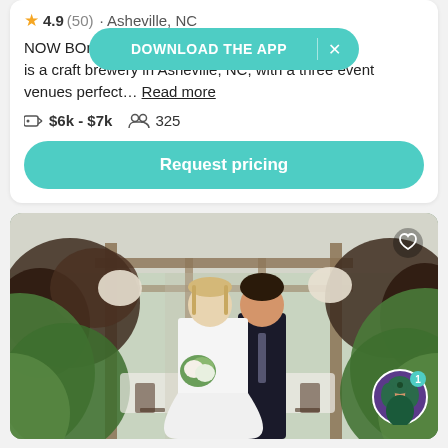4.9 (50) · Asheville, NC
DOWNLOAD THE APP
NOW BOOKING... Company is a craft brewery in Asheville, NC, with a three event venues perfect… Read more
$6k - $7k   325
Request pricing
[Figure (photo): Wedding couple standing under a pergola surrounded by lush green and dark red foliage, bride in white dress holding bouquet, groom in dark suit]